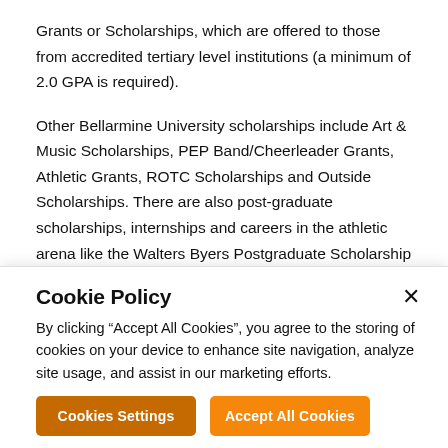Grants or Scholarships, which are offered to those from accredited tertiary level institutions (a minimum of 2.0 GPA is required).
Other Bellarmine University scholarships include Art & Music Scholarships, PEP Band/Cheerleader Grants, Athletic Grants, ROTC Scholarships and Outside Scholarships. There are also post-graduate scholarships, internships and careers in the athletic arena like the Walters Byers Postgraduate Scholarship Program, which recognizes men and women for their superior academic performance and their potential success in postgraduate endeavors, and the NCAA Postgraduate Scholarship Program, which is awarded to students who have demonstrated academic
Cookie Policy
By clicking “Accept All Cookies”, you agree to the storing of cookies on your device to enhance site navigation, analyze site usage, and assist in our marketing efforts.